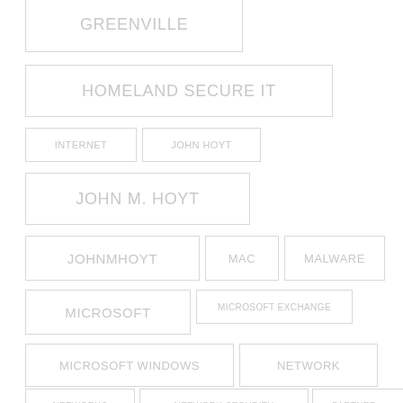GREENVILLE
HOMELAND SECURE IT
INTERNET
JOHN HOYT
JOHN M. HOYT
JOHNMHOYT
MAC
MALWARE
MICROSOFT
MICROSOFT EXCHANGE
MICROSOFT WINDOWS
NETWORK
NETWORKS
NETWORK SECURITY
PARTNER...